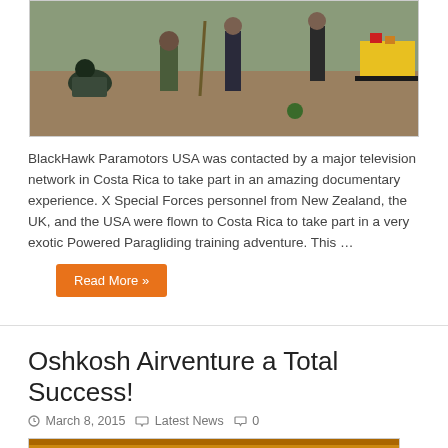[Figure (photo): Outdoor scene with people on a sandy/muddy area, some in camouflage clothing, one person sitting with a hat on the left]
BlackHawk Paramotors USA was contacted by a major television network in Costa Rica to take part in an amazing documentary experience. X Special Forces personnel from New Zealand, the UK, and the USA were flown to Costa Rica to take part in a very exotic Powered Paragliding training adventure. This …
Read More »
Oshkosh Airventure a Total Success!
March 8, 2015   Latest News   0
[Figure (photo): Partial view of an outdoor event tent/booth at an airventure or airshow]